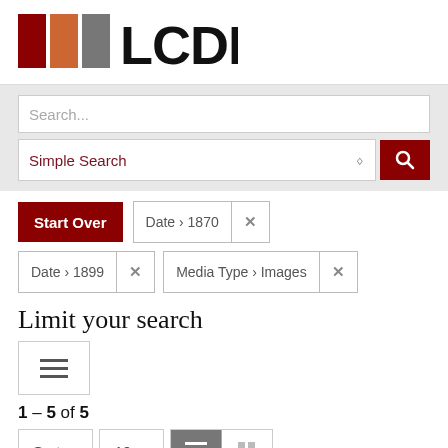[Figure (logo): LCDL logo with colored blocks (dark red, orange, gray) next to bold text 'LCDL']
Search...
Simple Search
Start Over
Date › 1870
Date › 1899
Media Type › Images
Limit your search
1 – 5 of 5
Sort  10  (list view icon) (grid view icon)